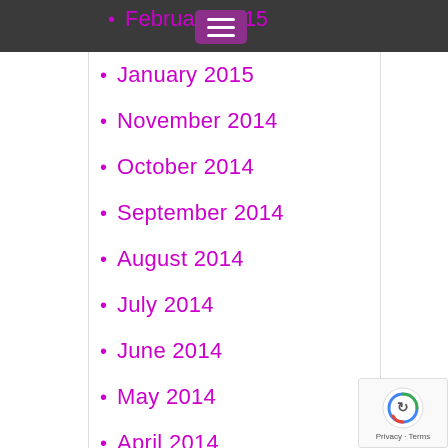February 2015 (partial, cut off at top)
January 2015
November 2014
October 2014
September 2014
August 2014
July 2014
June 2014
May 2014
April 2014
March 2014